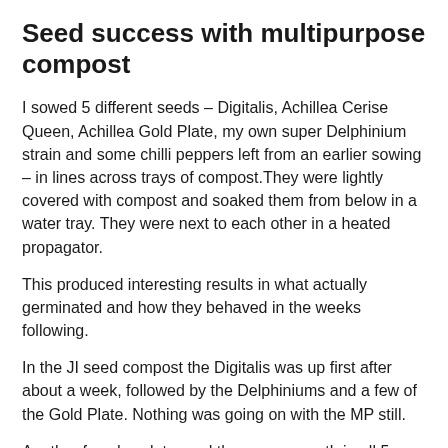Seed success with multipurpose compost
I sowed 5 different seeds – Digitalis, Achillea Cerise Queen, Achillea Gold Plate, my own super Delphinium strain and some chilli peppers left from an earlier sowing – in lines across trays of compost.They were lightly covered with compost and soaked them from below in a water tray. They were next to each other in a heated propagator.
This produced interesting results in what actually germinated and how they behaved in the weeks following.
In the JI seed compost the Digitalis was up first after about a week, followed by the Delphiniums and a few of the Gold Plate. Nothing was going on with the MP still.
Another few days later and there was growth in all 5 lines of the MP tray, but nothing different in the JI.